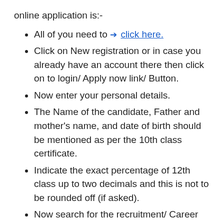online application is:-
All of you need to ➔ click here.
Click on New registration or in case you already have an account there then click on to login/ Apply now link/ Button.
Now enter your personal details.
The Name of the candidate, Father and mother's name, and date of birth should be mentioned as per the 10th class certificate.
Indicate the exact percentage of 12th class up to two decimals and this is not to be rounded off (if asked).
Now search for the recruitment/ Career section.
Filling up information like personal